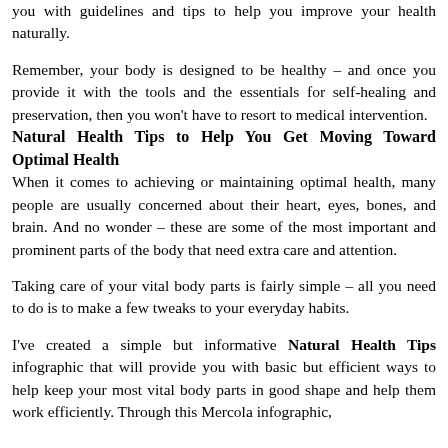you with guidelines and tips to help you improve your health naturally.
Remember, your body is designed to be healthy – and once you provide it with the tools and the essentials for self-healing and preservation, then you won't have to resort to medical intervention.
Natural Health Tips to Help You Get Moving Toward Optimal Health
When it comes to achieving or maintaining optimal health, many people are usually concerned about their heart, eyes, bones, and brain. And no wonder – these are some of the most important and prominent parts of the body that need extra care and attention.
Taking care of your vital body parts is fairly simple – all you need to do is to make a few tweaks to your everyday habits.
I've created a simple but informative Natural Health Tips infographic that will provide you with basic but efficient ways to help keep your most vital body parts in good shape and help them work efficiently. Through this Mercola infographic,